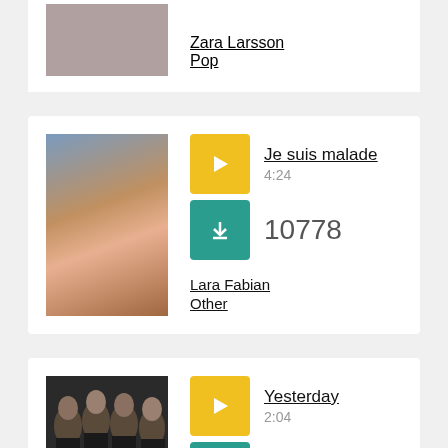[Figure (photo): Partial artist photo of Zara Larsson, cropped at top]
Zara Larsson
Pop
[Figure (photo): Portrait photo of Lara Fabian, a woman with long wavy brown hair wearing a pink top]
Je suis malade
4:24
10778
Lara Fabian
Other
[Figure (photo): Group photo of The Beatles, four men in dark suits with black hair]
Yesterday
2:04
6605